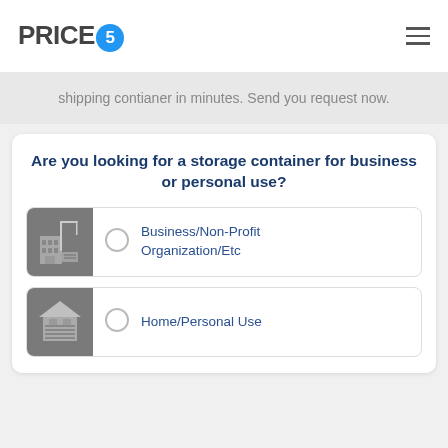PRICE5
shipping contianer in minutes. Send you request now.
Are you looking for a storage container for business or personal use?
Business/Non-Profit Organization/Etc
Home/Personal Use